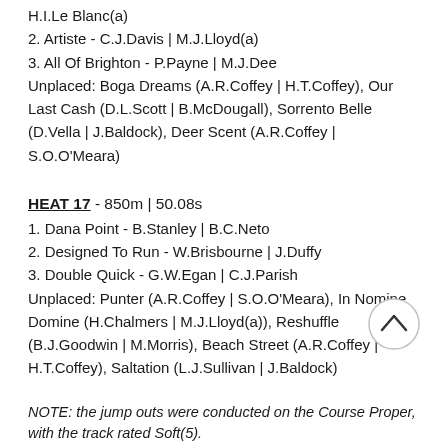H.I.Le Blanc(a)
2. Artiste - C.J.Davis | M.J.Lloyd(a)
3. All Of Brighton - P.Payne | M.J.Dee
Unplaced: Boga Dreams (A.R.Coffey | H.T.Coffey), Our Last Cash (D.L.Scott | B.McDougall), Sorrento Belle (D.Vella | J.Baldock), Deer Scent (A.R.Coffey | S.O.O'Meara)
HEAT 17 - 850m | 50.08s
1. Dana Point - B.Stanley | B.C.Neto
2. Designed To Run - W.Brisbourne | J.Duffy
3. Double Quick - G.W.Egan | C.J.Parish
Unplaced: Punter (A.R.Coffey | S.O.O'Meara), In Nomine Domine (H.Chalmers | M.J.Lloyd(a)), Reshuffle (B.J.Goodwin | M.Morris), Beach Street (A.R.Coffey | H.T.Coffey), Saltation (L.J.Sullivan | J.Baldock)
NOTE: the jump outs were conducted on the Course Proper, with the track rated Soft(5). *silk colour accuracy may vary